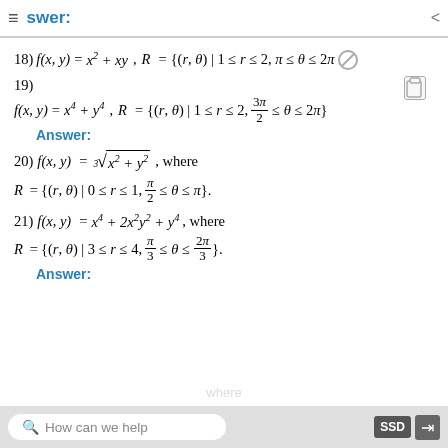≡  swer:
Answer:
Answer:
How can we help